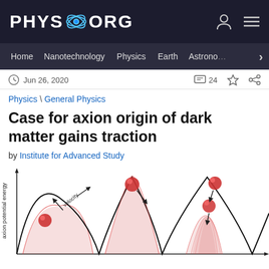PHYS.ORG
Home | Nanotechnology | Physics | Earth | Astronomy >
Jun 26, 2020  24
Physics \ General Physics
Case for axion origin of dark matter gains traction
by Institute for Advanced Study
[Figure (continuous-plot): Diagram showing axion potential energy landscape as a wave-like curve with multiple peaks and troughs. Red spheres represent the axion particle at different positions on the wave, with arrows indicating velocity direction and arrows showing the particle rolling down the potential energy hills. Red shaded region shows the oscillation envelope narrowing over time, illustrating how axion oscillations damp as the universe expands.]